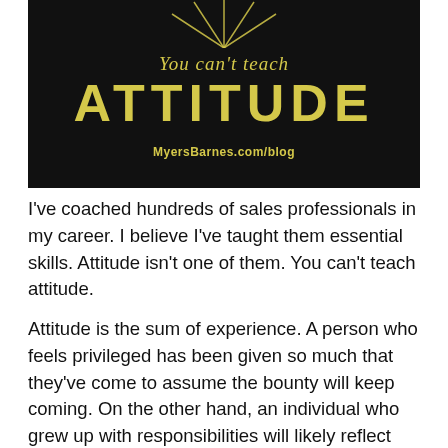[Figure (illustration): Chalkboard image with chalk-drawn rays at top, text 'You can't teach' in italic yellow, large bold yellow text 'ATTITUDE', and URL 'MyersBarnes.com/blog' at bottom center on dark background.]
I've coached hundreds of sales professionals in my career. I believe I've taught them essential skills. Attitude isn't one of them. You can't teach attitude.
Attitude is the sum of experience. A person who feels privileged has been given so much that they've come to assume the bounty will keep coming. On the other hand, an individual who grew up with responsibilities will likely reflect the commitment to working hard in the pursuit of achieving something positive.